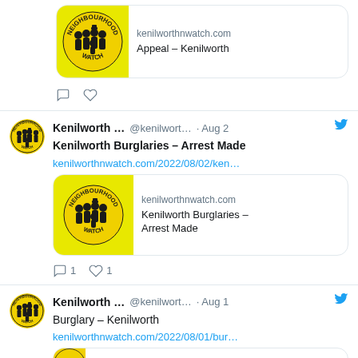[Figure (screenshot): Top of tweet showing Neighbourhood Watch link card with logo and text 'kenilworthnwatch.com / Appeal – Kenilworth', followed by comment and like action icons]
[Figure (screenshot): Tweet by Kenilworth... @kenilwort... · Aug 2 with Twitter bird icon. Text: 'Kenilworth Burglaries – Arrest Made' and link kenilworthnwatch.com/2022/08/02/ken... with link card showing Neighbourhood Watch logo and 'kenilworthnwatch.com / Kenilworth Burglaries – Arrest Made'. Actions: 1 comment, 1 like.]
[Figure (screenshot): Tweet by Kenilworth... @kenilwort... · Aug 1 with Twitter bird icon. Text: 'Burglary – Kenilworth' and link kenilworthnwatch.com/2022/08/01/bur...]